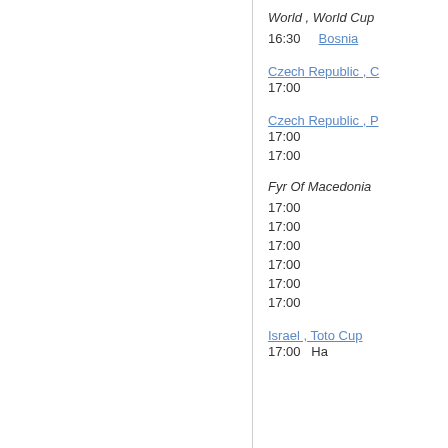World , World Cup
16:30
Bosnia
Czech Republic , C
17:00
Czech Republic , P
17:00
17:00
Fyr Of Macedonia
17:00
17:00
17:00
17:00
17:00
17:00
Israel , Toto Cup
17:00 Ha